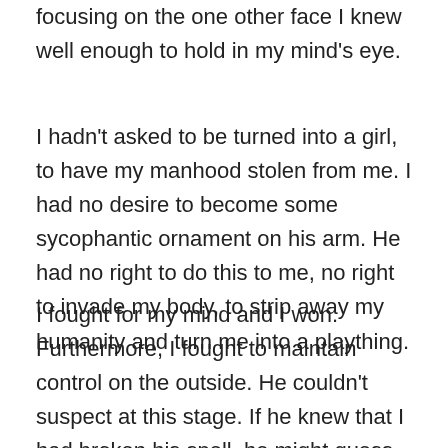focusing on the one other face I knew well enough to hold in my mind's eye.
I hadn't asked to be turned into a girl, to have my manhood stolen from me. I had no desire to become some sycophantic ornament on his arm. He had no right to do this to me, no right to invade my body, to strip away my humanity and turn me into a plaything.
I fought for my mind and I won. Furthermore, I fought to maintain control on the outside. He couldn't suspect at this stage. If he knew that I had broken his spell, he might guess I'd had help and both Taylor and I would suffer at the hands of his goon soldiers. Though it revolted me I forced myself to lean in on him, to will myself to act as